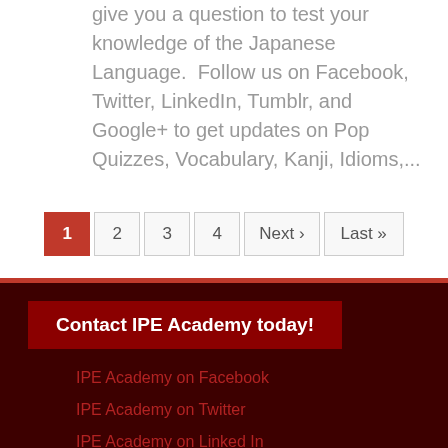give you a question to test your knowledge of the Japanese Language.  Follow us on Facebook, Twitter, LinkedIn, Tumblr, and Google+ to get updates on Pop Quizzes, Vocabulary, Kanji, Idioms,...
1 2 3 4 Next › Last »
Contact IPE Academy today!
IPE Academy on Facebook
IPE Academy on Twitter
IPE Academy on Linked In
IPE Academy on Google+